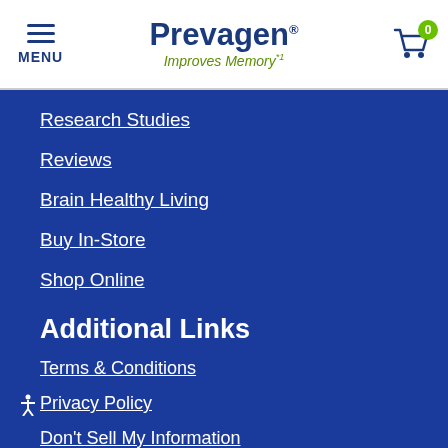MENU | Prevagen Improves Memory | Cart 0
Research Studies
Reviews
Brain Healthy Living
Buy In-Store
Shop Online
Additional Links
Terms & Conditions
Privacy Policy
Don't Sell My Information